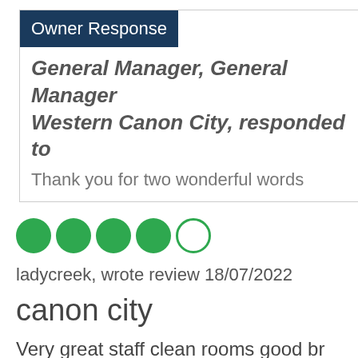Owner Response
General Manager, General Manager Western Canon City, responded to
Thank you for two wonderful words
[Figure (other): 4 filled green circles and 1 empty green circle representing a 4 out of 5 rating]
ladycreek, wrote review 18/07/2022
canon city
Very great staff clean rooms good br have stayed here before usually seve